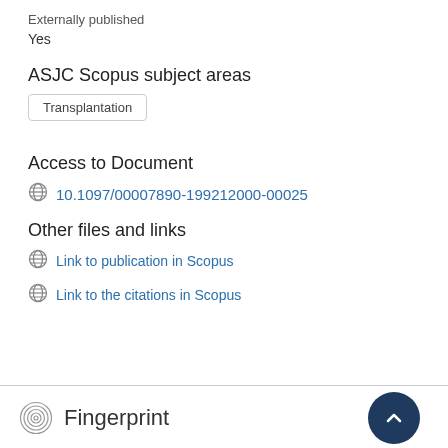Externally published
Yes
ASJC Scopus subject areas
Transplantation
Access to Document
10.1097/00007890-199212000-00025
Other files and links
Link to publication in Scopus
Link to the citations in Scopus
Fingerprint